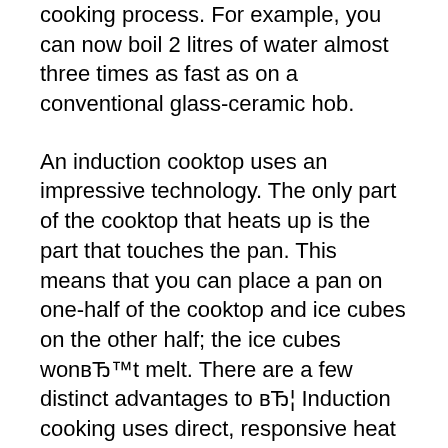even more power to speed up the cooking process. For example, you can now boil 2 litres of water almost three times as fast as on a conventional glass-ceramic hob.
An induction cooktop uses an impressive technology. The only part of the cooktop that heats up is the part that touches the pan. This means that you can place a pan on one-half of the cooktop and ice cubes on the other half; the ice cubes won’t melt. There are a few distinct advantages to … Induction cooking uses direct, responsive heat for the entire zone and heat food faster than electric cooktops. See more. Beautifully designed grates.